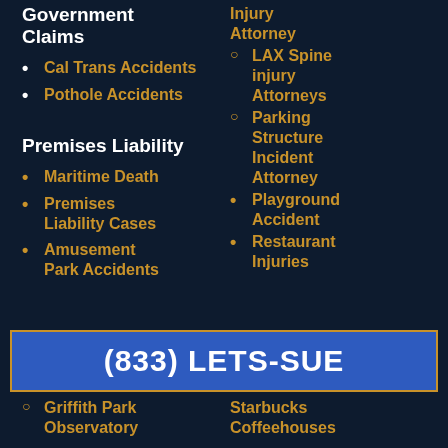Government Claims
Cal Trans Accidents
Pothole Accidents
Premises Liability
Maritime Death
Premises Liability Cases
Amusement Park Accidents
Injury Attorney
LAX Spine injury Attorneys
Parking Structure Incident Attorney
Playground Accident
Restaurant Injuries
(833) LETS-SUE
Griffith Park Observatory
Starbucks Coffeehouses
Slip And Fall